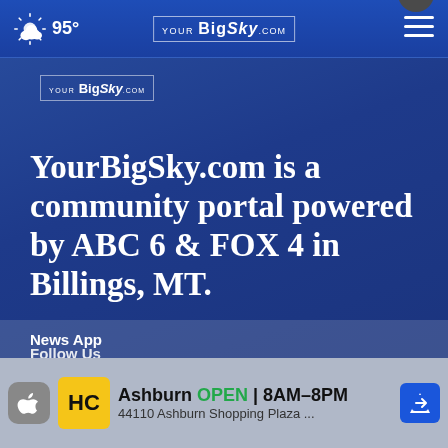95° Your Big Sky .com
[Figure (logo): YourBigSky.com secondary logo with border]
YourBigSky.com is a community portal powered by ABC 6 & FOX 4 in Billings, MT.
Follow Us
[Figure (infographic): Social media icons: Facebook, Twitter, YouTube]
News App
[Figure (infographic): Advertisement: Ashburn OPEN 8AM–8PM, 44110 Ashburn Shopping Plaza ...]